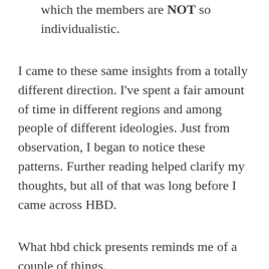which the members are NOT so individualistic.
I came to these same insights from a totally different direction. I've spent a fair amount of time in different regions and among people of different ideologies. Just from observation, I began to notice these patterns. Further reading helped clarify my thoughts, but all of that was long before I came across HBD.
What hbd chick presents reminds me of a couple of things.